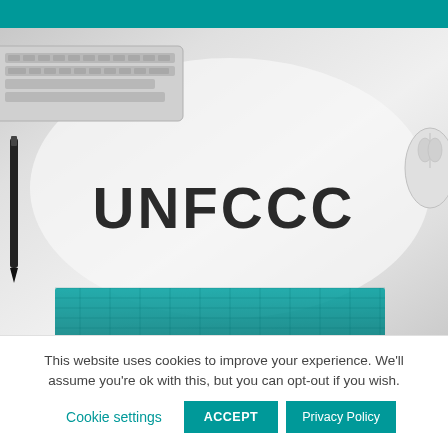[Figure (photo): A light gray desk scene showing a keyboard in the top-left corner, a large bold 'UNFCCC' text centered on what appears to be a white paper or laptop, a pen/marker on the left side, a mouse on the right, and a teal cutting mat visible at the bottom.]
This website uses cookies to improve your experience. We'll assume you're ok with this, but you can opt-out if you wish.
Cookie settings
ACCEPT
Privacy Policy